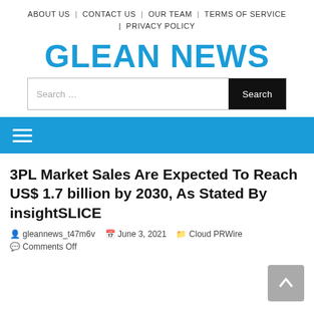ABOUT US  |  CONTACT US  |  OUR TEAM  |  TERMS OF SERVICE  |  PRIVACY POLICY
GLEAN NEWS
3PL Market Sales Are Expected To Reach US$ 1.7 billion by 2030, As Stated By insightSLICE
gleaneews_t47m6v   June 3, 2021   Cloud PRWire
Comments Off